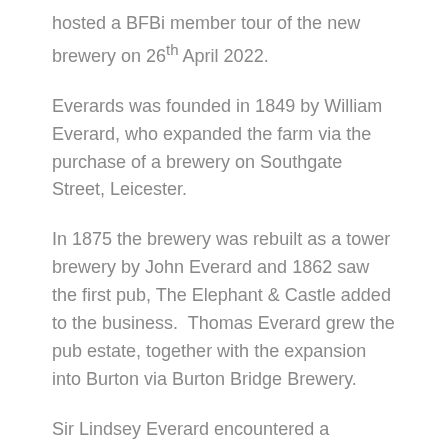hosted a BFBi member tour of the new brewery on 26th April 2022.
Everards was founded in 1849 by William Everard, who expanded the farm via the purchase of a brewery on Southgate Street, Leicester.
In 1875 the brewery was rebuilt as a tower brewery by John Everard and 1862 saw the first pub, The Elephant & Castle added to the business.  Thomas Everard grew the pub estate, together with the expansion into Burton via Burton Bridge Brewery.
Sir Lindsey Everard encountered a particularly challenging time period, with raised alcohol taxes; restrictions in opening hours and, in 1932, the Southgate Street brewery closed.